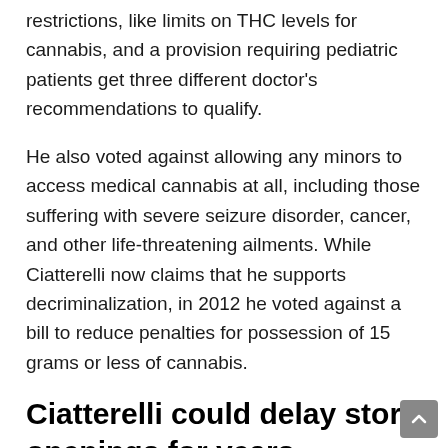restrictions, like limits on THC levels for cannabis, and a provision requiring pediatric patients get three different doctor's recommendations to qualify.
He also voted against allowing any minors to access medical cannabis at all, including those suffering with severe seizure disorder, cancer, and other life-threatening ailments. While Ciatterelli now claims that he supports decriminalization, in 2012 he voted against a bill to reduce penalties for possession of 15 grams or less of cannabis.
Ciatterelli could delay store openings for years
As Ciatterelli himself has noted, the only way to undue th...